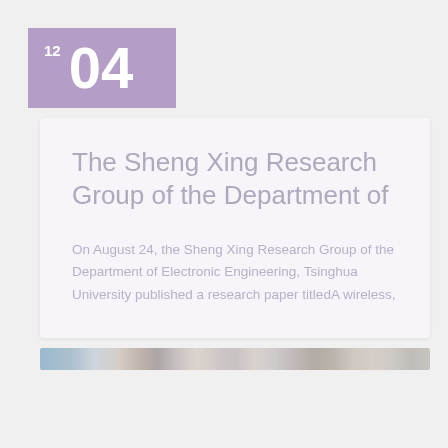12 04
The Sheng Xing Research Group of the Department of
On August 24, the Sheng Xing Research Group of the Department of Electronic Engineering, Tsinghua University published a research paper titledA wireless,
[Figure (photo): Thumbnail strip of a research-related image or banner at the bottom of the card]